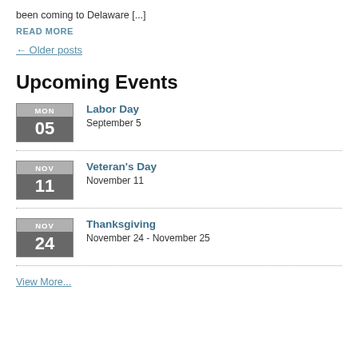been coming to Delaware [...]
READ MORE
← Older posts
Upcoming Events
Labor Day — September 5 (MON 05)
Veteran's Day — November 11 (NOV 11)
Thanksgiving — November 24 - November 25 (NOV 24)
View More...